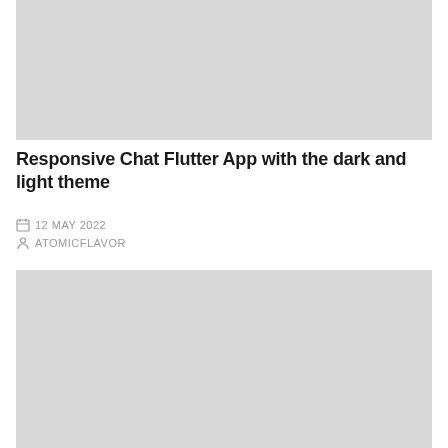[Figure (photo): Top placeholder image with light gray background]
Responsive Chat Flutter App with the dark and light theme
12 MAY 2022
ATOMICFLAVOR
[Figure (photo): Bottom placeholder image with light gray background]